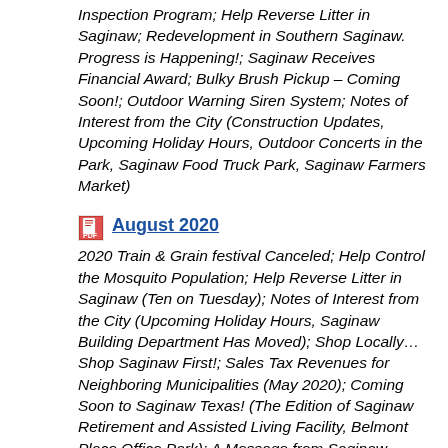Inspection Program; Help Reverse Litter in Saginaw; Redevelopment in Southern Saginaw. Progress is Happening!; Saginaw Receives Financial Award; Bulky Brush Pickup – Coming Soon!; Outdoor Warning Siren System; Notes of Interest from the City (Construction Updates, Upcoming Holiday Hours, Outdoor Concerts in the Park, Saginaw Food Truck Park, Saginaw Farmers Market)
August 2020 — 2020 Train & Grain festival Canceled; Help Control the Mosquito Population; Help Reverse Litter in Saginaw (Ten on Tuesday); Notes of Interest from the City (Upcoming Holiday Hours, Saginaw Building Department Has Moved); Shop Locally…Shop Saginaw First!; Sales Tax Revenues for Neighboring Municipalities (May 2020); Coming Soon to Saginaw Texas! (The Edition of Saginaw Retirement and Assisted Living Facility, Belmont Place Office Park); A Message from Saginaw Animal Services; Available Masks for Saginaw Businesses; Notes from the Keep